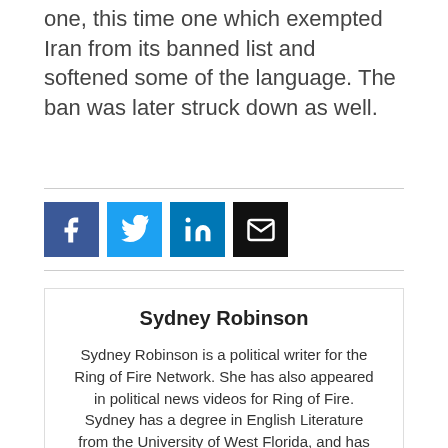one, this time one which exempted Iran from its banned list and softened some of the language. The ban was later struck down as well.
[Figure (other): Social sharing buttons: Facebook (blue), Twitter (light blue), LinkedIn (dark blue), Email (black)]
Sydney Robinson
Sydney Robinson is a political writer for the Ring of Fire Network. She has also appeared in political news videos for Ring of Fire. Sydney has a degree in English Literature from the University of West Florida, and has an active interest in politics, social